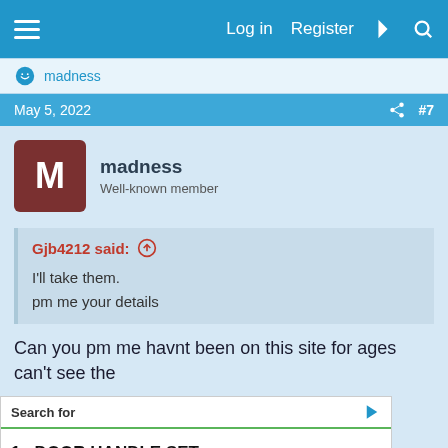Log in  Register
madness
May 5, 2022  #7
madness
Well-known member
Gjb4212 said:
I'll take them.
pm me your details
Can you pm me havnt been on this site for ages can't see the
Search for
1. DOOR HANDLE SET
2. NEW GARAGE DOORS
Yahoo! Search | Sponsored